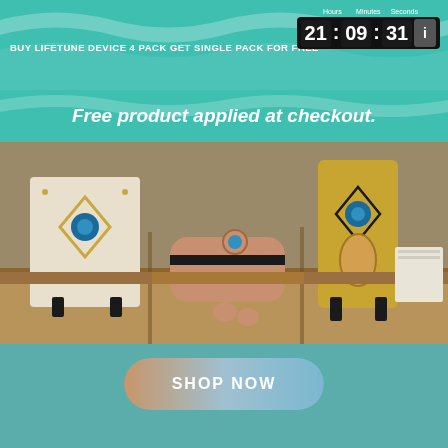BUY LIFETUNE DEVICE 4 PACK GET SINGLE PACK FOR FREE  21 : 09 : 31
Free product applied at checkout.
[Figure (photo): Product photo showing Lifetune devices displayed on a wooden shelf — a white card-shaped device, a rose gold rounded device, and a gold rectangular board-shaped device, each with a blue-centered diamond design.]
SHOP NOW